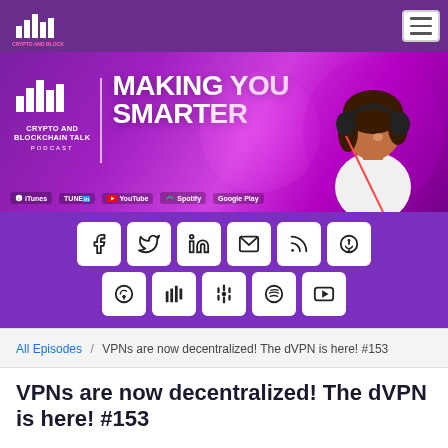Crypto and Blockchain Talk Podcast - Navigation bar
[Figure (illustration): Crypto and Blockchain Talk Podcast banner with tagline 'MAKING YOU SMARTER', podcast logo on left, woman with headphones on right, platform icons at bottom (iTunes, TuneIn, YouTube, SoundCloud, Spotify, Google Play)]
[Figure (illustration): Social media sharing buttons grid: Facebook, Twitter, LinkedIn, Email, RSS, Podcast, iHeart, Deezer, Google Podcasts, Spotify, YouTube]
All Episodes / VPNs are now decentralized! The dVPN is here! #153
VPNs are now decentralized! The dVPN is here! #153